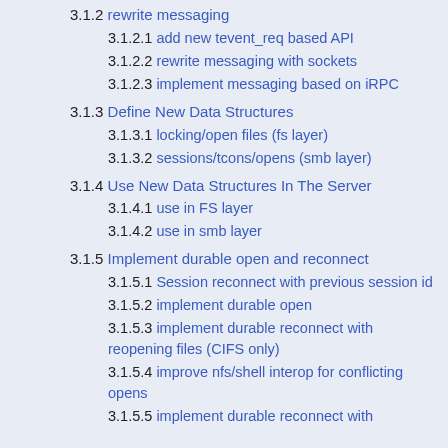3.1.2 rewrite messaging
3.1.2.1 add new tevent_req based API
3.1.2.2 rewrite messaging with sockets
3.1.2.3 implement messaging based on iRPC
3.1.3 Define New Data Structures
3.1.3.1 locking/open files (fs layer)
3.1.3.2 sessions/tcons/opens (smb layer)
3.1.4 Use New Data Structures In The Server
3.1.4.1 use in FS layer
3.1.4.2 use in smb layer
3.1.5 Implement durable open and reconnect
3.1.5.1 Session reconnect with previous session id
3.1.5.2 implement durable open
3.1.5.3 implement durable reconnect with reopening files (CIFS only)
3.1.5.4 improve nfs/shell interop for conflicting opens
3.1.5.5 implement durable reconnect with